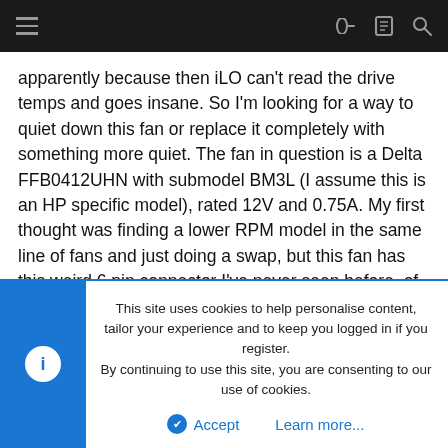Navigation bar with hamburger menu and icons
apparently because then iLO can't read the drive temps and goes insane. So I'm looking for a way to quiet down this fan or replace it completely with something more quiet. The fan in question is a Delta FFB0412UHN with submodel BM3L (I assume this is an HP specific model), rated 12V and 0.75A. My first thought was finding a lower RPM model in the same line of fans and just doing a swap, but this fan has this weird 6 pin connector I've never seen before, of which only 5 wires are used, and any other fan in the FFB line I could find had either 3 or 4 wires. Another option was to solder a resistor on the (+) red wire but I wouldn't know which resistor and if it would even work with a PWM fan. Any help is appreciated 🙂
This site uses cookies to help personalise content, tailor your experience and to keep you logged in if you register.
By continuing to use this site, you are consenting to our use of cookies.
Accept   Learn more...